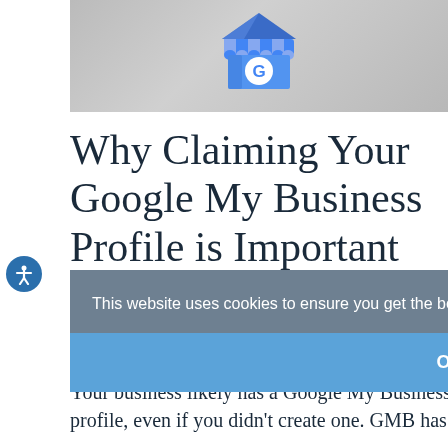[Figure (illustration): Google My Business store-front icon on a grey gradient background]
Why Claiming Your Google My Business Profile is Important
By Mandie Shaner
[Figure (screenshot): Cookie consent overlay: 'This website uses cookies to ensure you get the best possible experience on our website. Learn more.' with 'Ok, I accept' button]
Your business likely has a Google My Business profile, even if you didn't create one. GMB has